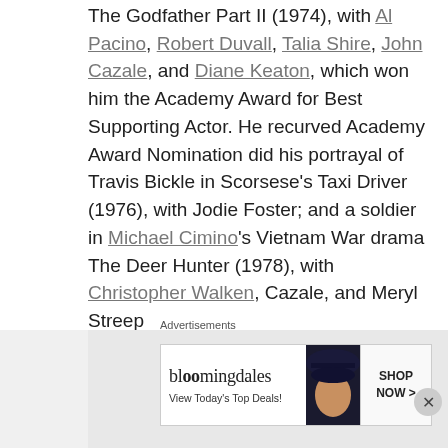The Godfather Part II (1974), with Al Pacino, Robert Duvall, Talia Shire, John Cazale, and Diane Keaton, which won him the Academy Award for Best Supporting Actor. He recurved Academy Award Nomination did his portrayal of Travis Bickle in Scorsese's Taxi Driver (1976), with Jodie Foster; and a soldier in Michael Cimino's Vietnam War drama The Deer Hunter (1978), with Christopher Walken, Cazale, and Meryl Streep
[Figure (photo): A person with dark hair next to an Oscar Academy Award statue, with a draped curtain background]
Advertisements
[Figure (other): Bloomingdale's advertisement banner: 'bloomingdales View Today's Top Deals! SHOP NOW >']